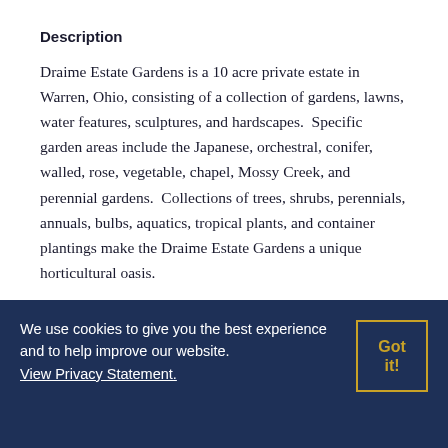Description
Draime Estate Gardens is a 10 acre private estate in Warren, Ohio, consisting of a collection of gardens, lawns, water features, sculptures, and hardscapes.  Specific garden areas include the Japanese, orchestral, conifer, walled, rose, vegetable, chapel, Mossy Creek, and perennial gardens.  Collections of trees, shrubs, perennials, annuals, bulbs, aquatics, tropical plants, and container plantings make the Draime Estate Gardens a unique horticultural oasis.
The estate gardens and grounds are available to select groups for educational, social, and cultural events.  Groups include but are not
We use cookies to give you the best experience and to help improve our website. View Privacy Statement.